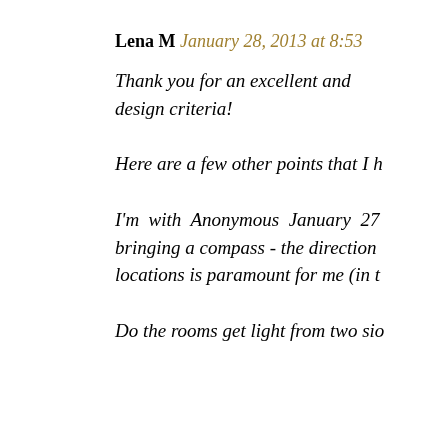Lena M January 28, 2013 at 8:53
Thank you for an excellent and design criteria!
Here are a few other points that I h
I'm with Anonymous January 27 bringing a compass - the direction locations is paramount for me (in t
Do the rooms get light from two sio